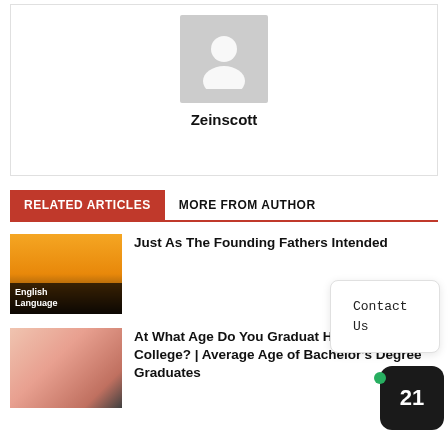[Figure (illustration): Generic user avatar placeholder — grey silhouette of a person on grey background]
Zeinscott
RELATED ARTICLES   MORE FROM AUTHOR
[Figure (photo): Thumbnail image showing sunset silhouette with label 'English Language']
Just As The Founding Fathers Intended
[Figure (photo): Thumbnail image showing two graduates in yellow and black gowns]
At What Age Do You Graduat High School & College? | Average Age of Bachelor's Degree Graduates